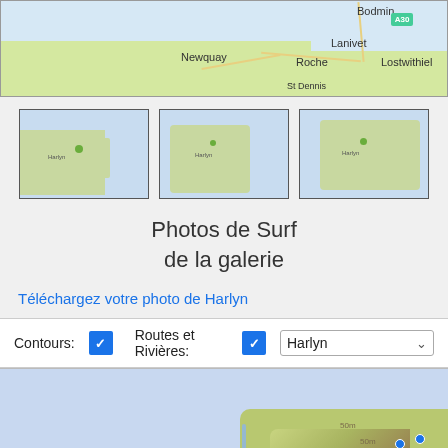[Figure (map): Top map showing Cornwall region with place names: Bodmin, Lanivet, Newquay, Roche, Lostwithiel, St Dennis]
[Figure (map): Three thumbnail maps of Cornwall/Harlyn area]
Photos de Surf
de la galerie
Téléchargez votre photo de Harlyn
Contours: ✓  Routes et Rivières: ✓  Harlyn ▾
[Figure (map): Bottom topographic map of Harlyn area showing coastline with blue dots marking surf locations]